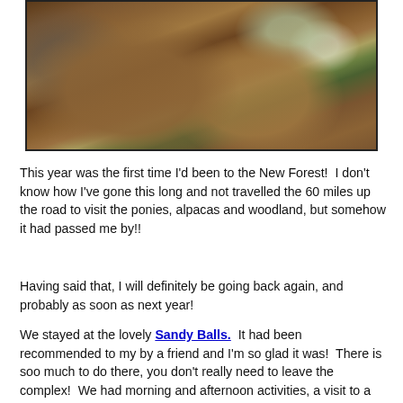[Figure (photo): Two fluffy brown alpacas being petted by people outdoors, with a smiling child visible in the background near a wooden deck and green grass.]
This year was the first time I'd been to the New Forest!  I don't know how I've gone this long and not travelled the 60 miles up the road to visit the ponies, alpacas and woodland, but somehow it had passed me by!!
Having said that, I will definitely be going back again, and probably as soon as next year!
We stayed at the lovely Sandy Balls.  It had been recommended to my by a friend and I'm so glad it was!  There is soo much to do there, you don't really need to leave the complex!  We had morning and afternoon activities, a visit to a neighbouring town, and a